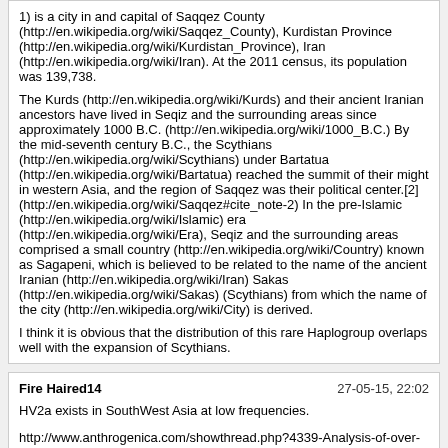1) is a city in and capital of Saqqez County (http://en.wikipedia.org/wiki/Saqqez_County), Kurdistan Province (http://en.wikipedia.org/wiki/Kurdistan_Province), Iran (http://en.wikipedia.org/wiki/Iran). At the 2011 census, its population was 139,738.

The Kurds (http://en.wikipedia.org/wiki/Kurds) and their ancient Iranian ancestors have lived in Seqiz and the surrounding areas since approximately 1000 B.C. (http://en.wikipedia.org/wiki/1000_B.C.) By the mid-seventh century B.C., the Scythians (http://en.wikipedia.org/wiki/Scythians) under Bartatua (http://en.wikipedia.org/wiki/Bartatua) reached the summit of their might in western Asia, and the region of Saqqez was their political center.[2] (http://en.wikipedia.org/wiki/Saqqez#cite_note-2) In the pre-Islamic (http://en.wikipedia.org/wiki/Islamic) era (http://en.wikipedia.org/wiki/Era), Seqiz and the surrounding areas comprised a small country (http://en.wikipedia.org/wiki/Country) known as Sagapeni, which is believed to be related to the name of the ancient Iranian (http://en.wikipedia.org/wiki/Iran) Sakas (http://en.wikipedia.org/wiki/Sakas) (Scythians) from which the name of the city (http://en.wikipedia.org/wiki/City) is derived.

I think it is obvious that the distribution of this rare Haplogroup overlaps well with the expansion of Scythians.
Fire Haired14
HV2a exists in SouthWest Asia at low frequencies.

http://www.anthrogenica.com/showthread.php?4339-Analysis-of-over-2-000-HVR1-profiles-From-SouthWest-Asia&p=79606#post79606
Alan
HV2a exists in SouthWest Asia at low frequencies.

http://www.anthrogenica.com/showthread.php?4339-Analysis-of-over-2-000-